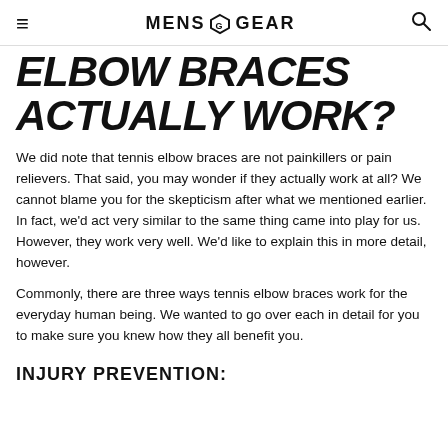MENS GEAR
ELBOW BRACES ACTUALLY WORK?
We did note that tennis elbow braces are not painkillers or pain relievers. That said, you may wonder if they actually work at all?  We cannot blame you for the skepticism after what we mentioned earlier. In fact, we'd act very similar to the same thing came into play for us. However, they work very well. We'd like to explain this in more detail, however.
Commonly, there are three ways tennis elbow braces work for the everyday human being. We wanted to go over each in detail for you to make sure you knew how they all benefit you.
INJURY PREVENTION: